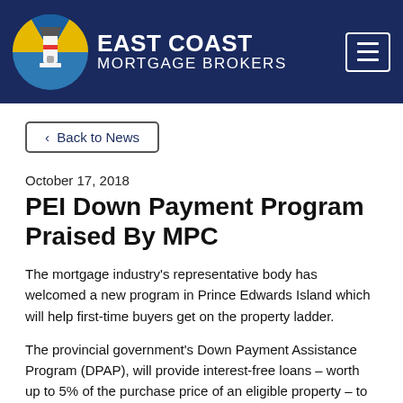[Figure (logo): East Coast Mortgage Brokers logo with lighthouse icon in a circular emblem on a dark navy header bar, with menu button]
< Back to News
October 17, 2018
PEI Down Payment Program Praised By MPC
The mortgage industry's representative body has welcomed a new program in Prince Edwards Island which will help first-time buyers get on the property ladder.
The provincial government's Down Payment Assistance Program (DPAP), will provide interest-free loans – worth up to 5% of the purchase price of an eligible property – to qualified